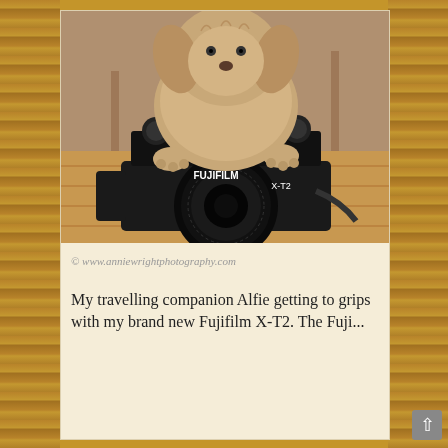[Figure (photo): A fluffy dog (Alfie) sitting on top of a Fujifilm X-T2 camera on a wooden floor, with the dog's paws gripping the camera body. The camera shows 'FUJIFILM X-T2' labeling.]
© www.anniewrightphotography.com
My travelling companion Alfie getting to grips with my brand new Fujifilm X-T2. The Fuji...